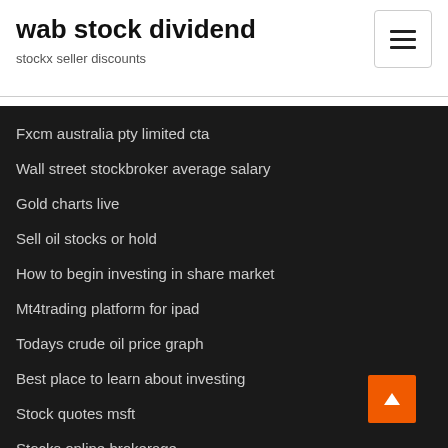wab stock dividend
stockx seller discounts
Fxcm australia pty limited cta
Wall street stockbroker average salary
Gold charts live
Sell oil stocks or hold
How to begin investing in share market
Mt4trading platform for ipad
Todays crude oil price graph
Best place to learn about investing
Stock quotes msft
Stocks online brokerage